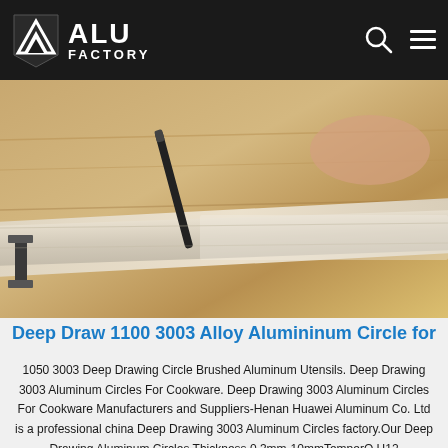ALU FACTORY
[Figure (photo): Close-up photo of aluminum sheets or cookware material, showing metallic/wooden textures with clamps and tools visible]
Deep Draw 1100 3003 Alloy Alumininum Circle for
1050 3003 Deep Drawing Circle Brushed Aluminum Utensils. Deep Drawing 3003 Aluminum Circles For Cookware. Deep Drawing 3003 Aluminum Circles For Cookware Manufacturers and Suppliers-Henan Huawei Aluminum Co. Ltd is a professional china Deep Drawing 3003 Aluminum Circles factory.Our Deep Drawing Aluminum Circles Thickness 0.3mm-10mmTemperO H12 H14H16,H18.Alloy:1050
Get Price
Home  Skype  E-Mail  Inquiry